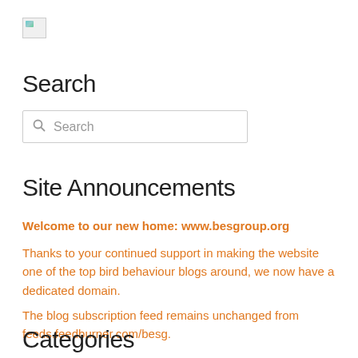[Figure (logo): Broken image icon placeholder in top left corner]
Search
[Figure (other): Search input box with magnifying glass icon and placeholder text 'Search']
Site Announcements
Welcome to our new home: www.besgroup.org
Thanks to your continued support in making the website one of the top bird behaviour blogs around, we now have a dedicated domain.
The blog subscription feed remains unchanged from feeds.feedburner.com/besg.
Categories